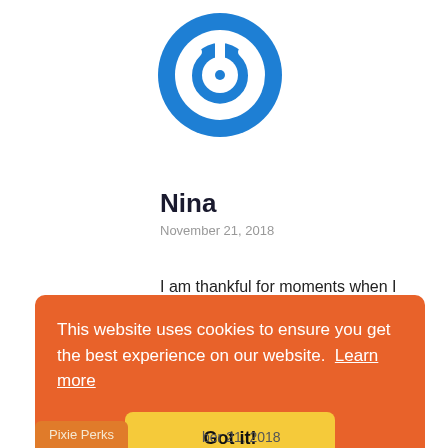[Figure (logo): Blue circular power button icon / logo]
Nina
November 21, 2018
I am thankful for moments when I can encourage others.
This website uses cookies to ensure you get the best experience on our website.  Learn more
Got it!
Pixie Perks
ber 21, 2018